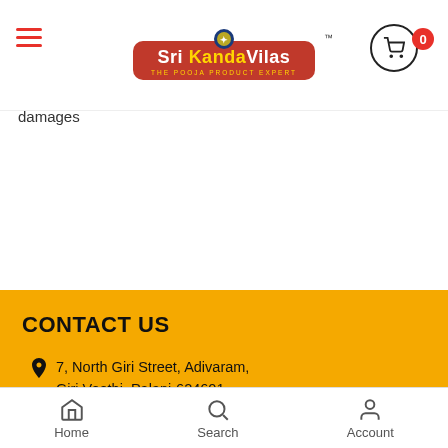[Figure (logo): Sri KandaVilas logo - red rounded rectangle with gold text, subtitle 'THE POOJA PRODUCT EXPERT']
damages
CONTACT US
7, North Giri Street, Adivaram, Giri Veethi, Palani-624601
Telephone: +91-9585-445511
Email: enquiry@srikandavilas.in
Home  Search  Account